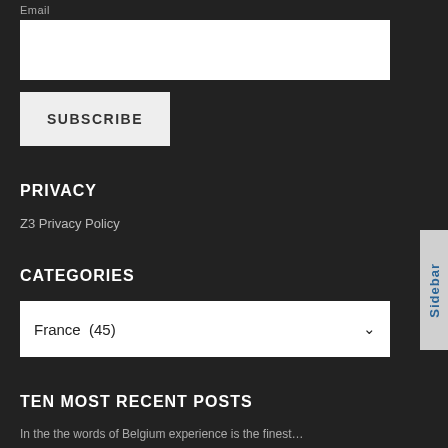Email
SUBSCRIBE
PRIVACY
Z3 Privacy Policy
CATEGORIES
France  (45)
TEN MOST RECENT POSTS
Sidebar